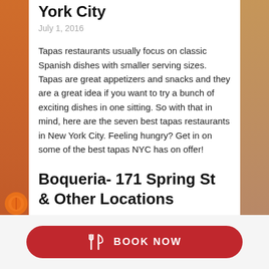York City
July 1, 2016
Tapas restaurants usually focus on classic Spanish dishes with smaller serving sizes. Tapas are great appetizers and snacks and they are a great idea if you want to try a bunch of exciting dishes in one sitting. So with that in mind, here are the seven best tapas restaurants in New York City. Feeling hungry? Get in on some of the best tapas NYC has on offer!
Boqueria- 171 Spring St & Other Locations
BOOK NOW